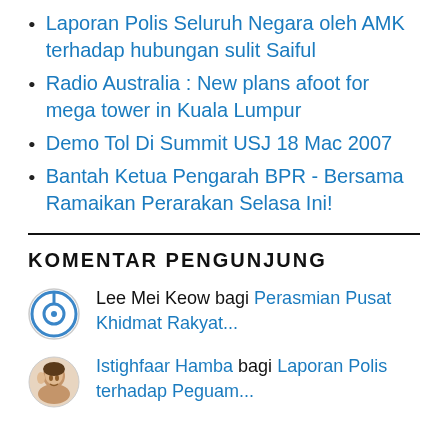Laporan Polis Seluruh Negara oleh AMK terhadap hubungan sulit Saiful
Radio Australia : New plans afoot for mega tower in Kuala Lumpur
Demo Tol Di Summit USJ 18 Mac 2007
Bantah Ketua Pengarah BPR - Bersama Ramaikan Perarakan Selasa Ini!
KOMENTAR PENGUNJUNG
Lee Mei Keow bagi Perasmian Pusat Khidmat Rakyat...
Istighfaar Hamba bagi Laporan Polis terhadap Peguam...